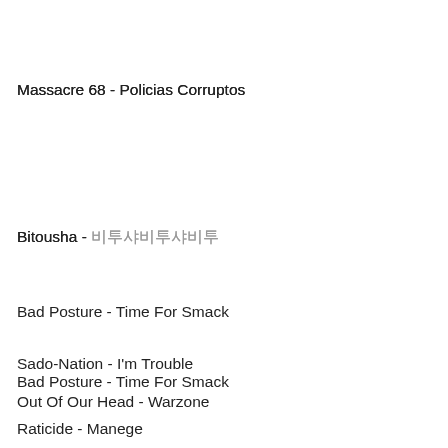Massacre 68 - Policias Corruptos
Bitousha - 비투샤비투샤비투
Bad Posture - Time For Smack
Sado-Nation - I'm Trouble
Out Of Our Head - Warzone
Raticide - Manege
Kid Chrome - I've Had It